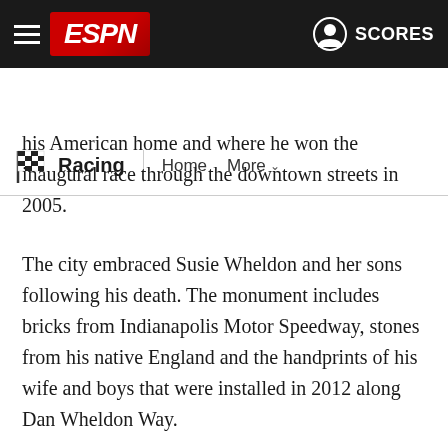ESPN | Racing | Home | More | SCORES
his American home and where he won the inaugural race through the downtown streets in 2005.
The city embraced Susie Wheldon and her sons following his death. The monument includes bricks from Indianapolis Motor Speedway, stones from his native England and the handprints of his wife and boys that were installed in 2012 along Dan Wheldon Way.